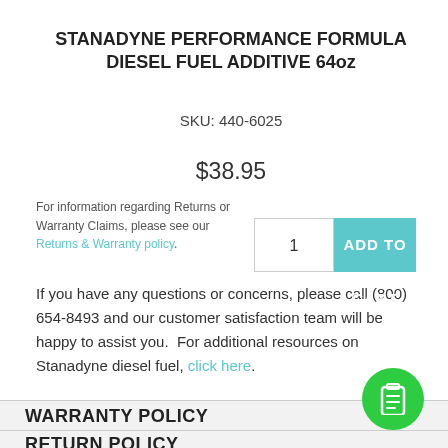STANADYNE PERFORMANCE FORMULA DIESEL FUEL ADDITIVE 64oz
SKU: 440-6025
$38.95
For information regarding Returns or Warranty Claims, please see our Returns & Warranty policy.
If you have any questions or concerns, please call (800) 654-8493 and our customer satisfaction team will be happy to assist you.  For additional resources on Stanadyne diesel fuel, click here.
WARRANTY POLICY
RETURN POLICY